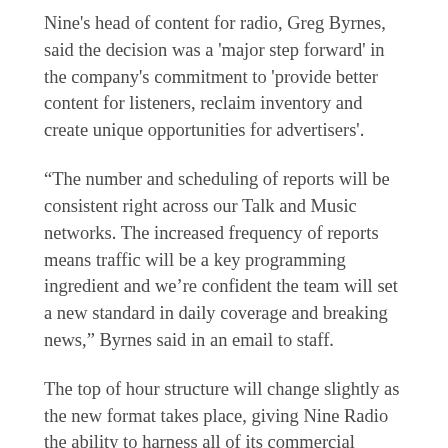Nine's head of content for radio, Greg Byrnes, said the decision was a 'major step forward' in the company's commitment to 'provide better content for listeners, reclaim inventory and create unique opportunities for advertisers'.
“The number and scheduling of reports will be consistent right across our Talk and Music networks. The increased frequency of reports means traffic will be a key programming ingredient and we’re confident the team will set a new standard in daily coverage and breaking news,” Byrnes said in an email to staff.
The top of hour structure will change slightly as the new format takes place, giving Nine Radio the ability to harness all of its commercial inventory.